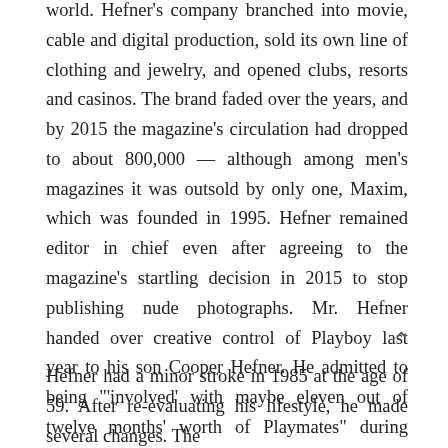world. Hefner's company branched into movie, cable and digital production, sold its own line of clothing and jewelry, and opened clubs, resorts and casinos. The brand faded over the years, and by 2015 the magazine's circulation had dropped to about 800,000 — although among men's magazines it was outsold by only one, Maxim, which was founded in 1995. Hefner remained editor in chief even after agreeing to the magazine's startling decision in 2015 to stop publishing nude photographs. Mr. Hefner handed over creative control of Playboy last year to his son Cooper Hefner. He admitted to being "'involved' with maybe eleven out of twelve months' worth of Playmates" during some of these years.
Hefner had a minor stroke in 1985 at the age of 59. After re-evaluating his lifestyle, he made several changes. The